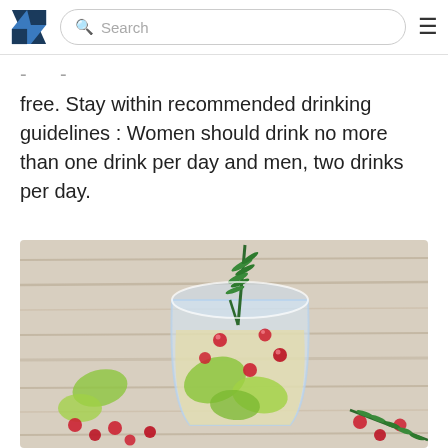Search
free. Stay within recommended drinking guidelines : Women should drink no more than one drink per day and men, two drinks per day.
[Figure (photo): A glass filled with white sangria containing green apple slices and cranberries, garnished with a sprig of fresh rosemary, placed on a rustic wooden surface with scattered cranberries and more rosemary sprigs around it.]